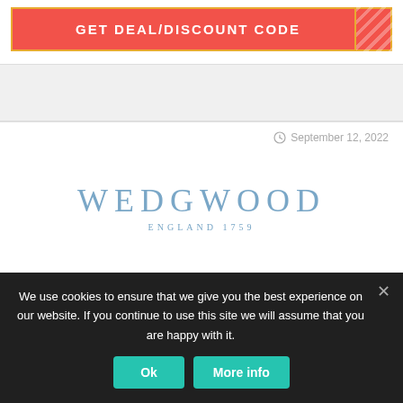[Figure (other): Red GET DEAL/DISCOUNT CODE button with orange border and diagonal stripe pattern on right side]
September 12, 2022
[Figure (logo): Wedgwood England 1759 logo in light blue serif text]
We use cookies to ensure that we give you the best experience on our website. If you continue to use this site we will assume that you are happy with it.